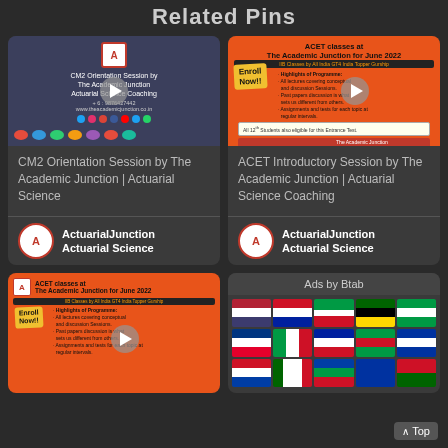Related Pins
[Figure (screenshot): Thumbnail for CM2 Orientation Session video by The Academic Junction Actuarial Science Coaching, dark background with logo and social icons]
CM2 Orientation Session by The Academic Junction | Actuarial Science
ActuarialJunction
Actuarial Science
[Figure (screenshot): Thumbnail for ACET Introductory Session video by The Academic Junction, orange background with Enroll Now tag]
ACET Introductory Session by The Academic Junction | Actuarial Science Coaching
ActuarialJunction
Actuarial Science
[Figure (screenshot): Thumbnail for ACET classes at The Academic Junction for June 2022, orange background with Enroll Now tag]
[Figure (screenshot): Ads by Btab — grid of colorful country flags]